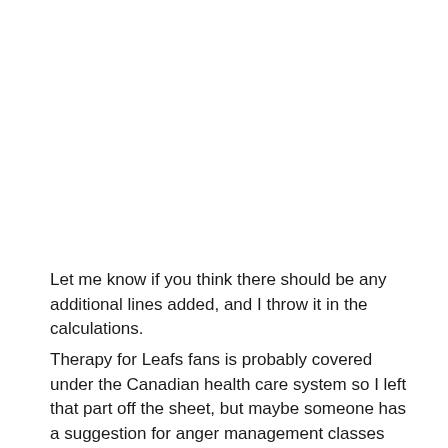Let me know if you think there should be any additional lines added, and I throw it in the calculations.
Therapy for Leafs fans is probably covered under the Canadian health care system so I left that part off the sheet, but maybe someone has a suggestion for anger management classes for Flyer fans or for Instagram access costs for Kings followers.